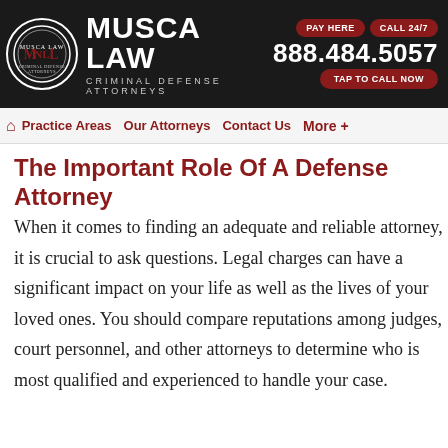[Figure (logo): Musca Law Criminal Defense Attorneys logo with circular emblem, firm name, and contact information including phone number 888.484.5057, PAY HERE, CALL 24/7, and TAP TO CALL NOW buttons]
Practice Areas   Our Attorneys   Contact Us   More +
The Important Role Of A Defense Attorney
When it comes to finding an adequate and reliable attorney, it is crucial to ask questions. Legal charges can have a significant impact on your life as well as the lives of your loved ones. You should compare reputations among judges, court personnel, and other attorneys to determine who is most qualified and experienced to handle your case.